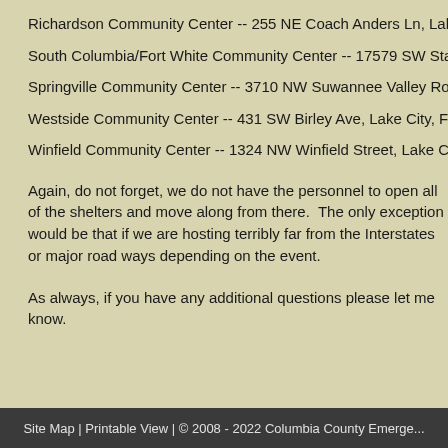Richardson Community Center -- 255 NE Coach Anders Ln, Lake City, FL 32...
South Columbia/Fort White Community Center -- 17579 SW State Road 47,...
Springville Community Center -- 3710 NW Suwannee Valley Road, Lake City...
Westside Community Center -- 431 SW Birley Ave, Lake City, FL 32024
Winfield Community Center -- 1324 NW Winfield Street, Lake City, FL 32055...
Again, do not forget, we do not have the personnel to open all of the shelters and move along from there. The only exception would be that if we are hosting terribly far from the Interstates or major road ways depending on the event.
As always, if you have any additional questions please let me know.
Site Map | Printable View | © 2008 - 2022 Columbia County Emerge...